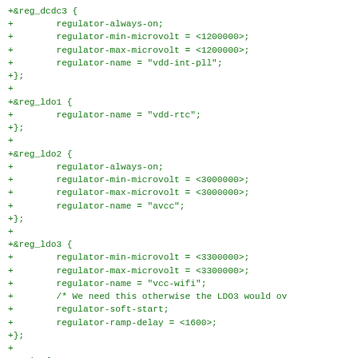+&reg_dcdc3 {
+	regulator-always-on;
+	regulator-min-microvolt = <1200000>;
+	regulator-max-microvolt = <1200000>;
+	regulator-name = "vdd-int-pll";
+};
+
+&reg_ldo1 {
+	regulator-name = "vdd-rtc";
+};
+
+&reg_ldo2 {
+	regulator-always-on;
+	regulator-min-microvolt = <3000000>;
+	regulator-max-microvolt = <3000000>;
+	regulator-name = "avcc";
+};
+
+&reg_ldo3 {
+	regulator-min-microvolt = <3300000>;
+	regulator-max-microvolt = <3300000>;
+	regulator-name = "vcc-wifi";
+	/* We need this otherwise the LDO3 would ov
+	regulator-soft-start;
+	regulator-ramp-delay = <1600>;
+};
+
+&spi2 {
+	pinctrl-names = "default";
+	pinctrl-0 = <&spi2_pc_pins>, <&spi2_cs0_pc